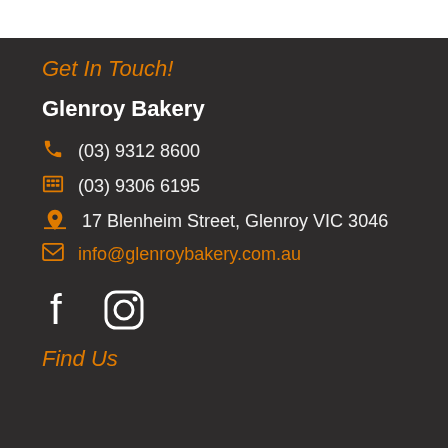Get In Touch!
Glenroy Bakery
(03) 9312 8600
(03) 9306 6195
17 Blenheim Street, Glenroy VIC 3046
info@glenroybakery.com.au
[Figure (illustration): Facebook and Instagram social media icons]
Find Us